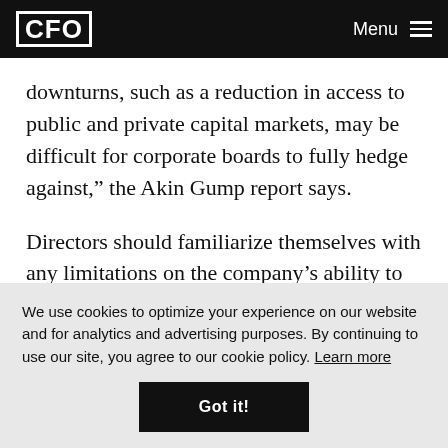CFO | Menu
downturns, such as a reduction in access to public and private capital markets, may be difficult for corporate boards to fully hedge against,” the Akin Gump report says.
Directors should familiarize themselves with any limitations on the company’s ability to raise capital, such as those arising from agreements with lenders or
We use cookies to optimize your experience on our website and for analytics and advertising purposes. By continuing to use our site, you agree to our cookie policy. Learn more
Got it!